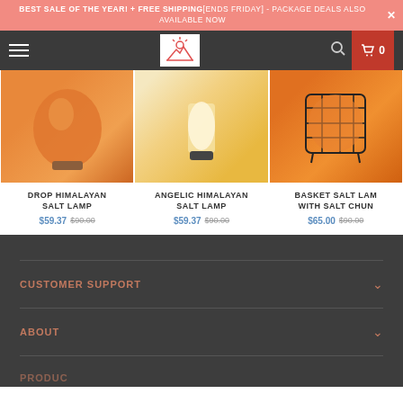BEST SALE OF THE YEAR! + FREE SHIPPING[ENDS FRIDAY] - PACKAGE DEALS ALSO AVAILABLE NOW
[Figure (screenshot): E-commerce website navigation bar with hamburger menu, logo (mountain/sun icon), search icon, and cart button showing 0 items on dark background]
[Figure (photo): Drop Himalayan Salt Lamp product image showing orange egg-shaped salt lamp on wooden base]
DROP HIMALAYAN SALT LAMP
$59.37 $90.00
[Figure (photo): Angelic Himalayan Salt Lamp product image showing glowing cylindrical salt lamp on dark metal base]
ANGELIC HIMALAYAN SALT LAMP
$59.37 $90.00
[Figure (photo): Basket Salt Lamp with Salt Chunks product image showing orange salt pieces in wire basket]
BASKET SALT LAM WITH SALT CHUN
$65.00 $90.00
CUSTOMER SUPPORT
ABOUT